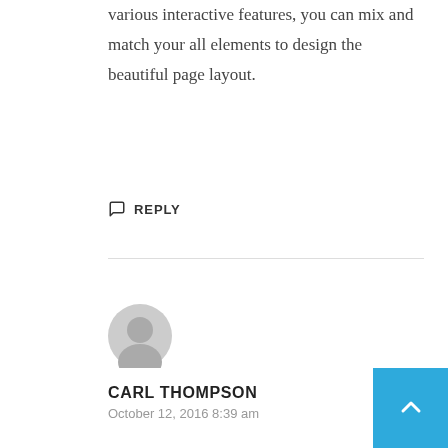various interactive features, you can mix and match your all elements to design the beautiful page layout.
REPLY
[Figure (illustration): User avatar placeholder icon — grey silhouette of a person on a light grey circle background]
CARL THOMPSON
October 12, 2016 8:39 am
With Edge Themes you can have complete control over almost every aspect of your typography. Choose from the extensive collection of great Google Fonts and set many separate